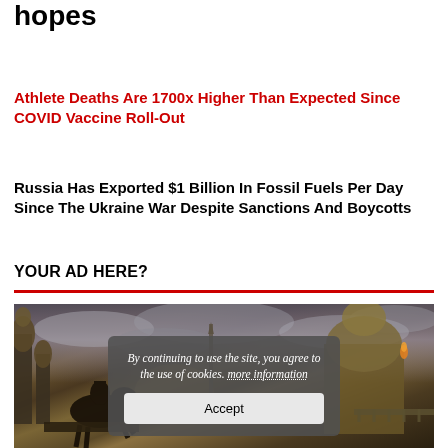hopes
Athlete Deaths Are 1700x Higher Than Expected Since COVID Vaccine Roll-Out
Russia Has Exported $1 Billion In Fossil Fuels Per Day Since The Ukraine War Despite Sanctions And Boycotts
YOUR AD HERE?
[Figure (photo): Fantasy/artistic image of a horseback rider silhouette against a dramatic cloudy sky with ornate domed buildings in the background, overlaid with a cookie consent popup reading: By continuing to use the site, you agree to the use of cookies. more information [Accept button]]